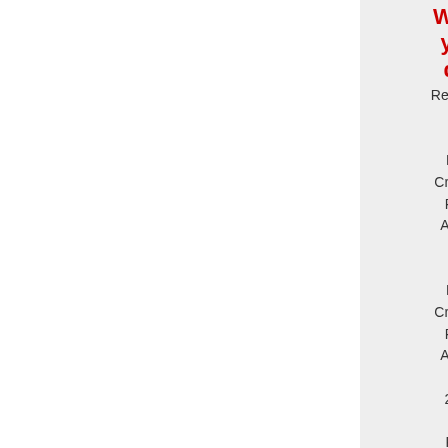What you do. Recipient of the Best Criminal RPG Award and the Best Criminal RPG Award for 2011 in P21. Recipient of the Best Criminal RPG Award of 2011 in